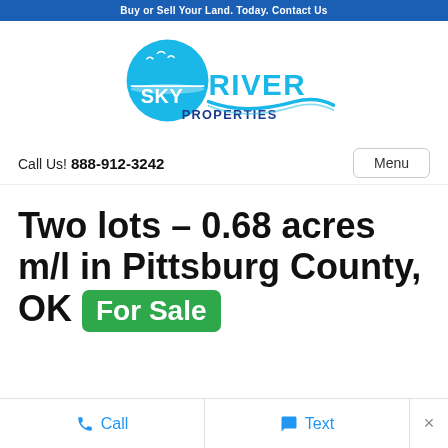Buy or Sell Your Land. Today. Contact Us
[Figure (logo): Sky River Properties logo with blue circle, seagulls, wave design, and text SKY RIVER PROPERTIES]
Call Us! 888-912-3242
Two lots – 0.68 acres m/l in Pittsburg County, OK For Sale
Call   Text   ×